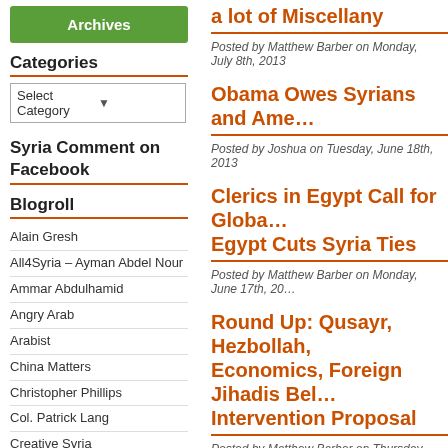Archives (button)
Categories
Select Category
Syria Comment on Facebook
Blogroll
Alain Gresh
All4Syria – Ayman Abdel Nour
Ammar Abdulhamid
Angry Arab
Arabist
China Matters
Christopher Phillips
Col. Patrick Lang
Creative Syria
Dreyfuss Report
Enduring America – Lucas et. al.
Focus on Syria (humanitarian)
a lot of Miscellany
Posted by Matthew Barber on Monday, July 8th, 2013
Obama Owes Syrians and Ame…
Posted by Joshua on Tuesday, June 18th, 2013
Clerics in Egypt Call for Globa… Egypt Cuts Syria Ties
Posted by Matthew Barber on Monday, June 17th, 2013
Round Up: Qusayr, Hezbollah, Economics, Foreign Jihadis Bel… Intervention Proposal
Posted by Matthew Barber on Thursday, June 13th, 2013
“Let ‘Lawfare’ Shape the Conf… Falt
Posted by Matthew Barber on Saturday, June 8th, 2013
Sheikh Muhammad al-Yaqoubi…
Posted by Matthew Barber on Thursday, May 30th, 2013
Is Syria Like Iraq?
Posted by Joshua on Friday, May 3rd, 2013